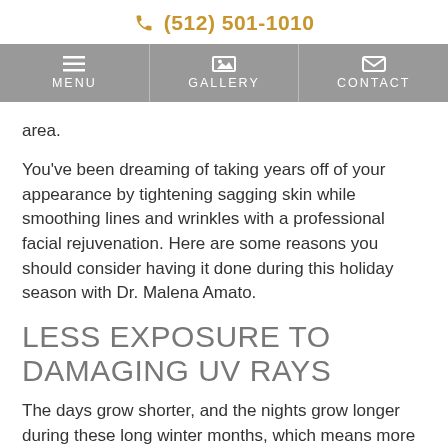(512) 501-1010
MENU | GALLERY | CONTACT
area.
You've been dreaming of taking years off of your appearance by tightening sagging skin while smoothing lines and wrinkles with a professional facial rejuvenation. Here are some reasons you should consider having it done during this holiday season with Dr. Malena Amato.
LESS EXPOSURE TO DAMAGING UV RAYS
The days grow shorter, and the nights grow longer during these long winter months, which means more time spent